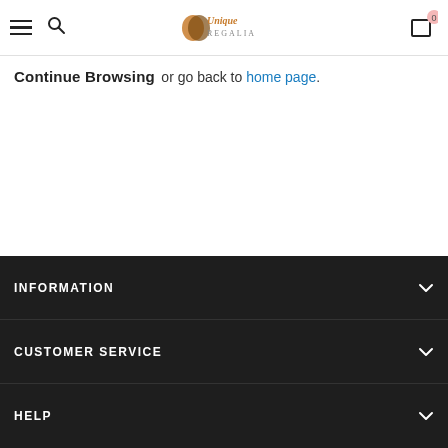Unique Regalia — navigation header with hamburger menu, search, logo, and cart (0 items)
Continue Browsing
or go back to home page.
INFORMATION | CUSTOMER SERVICE | HELP